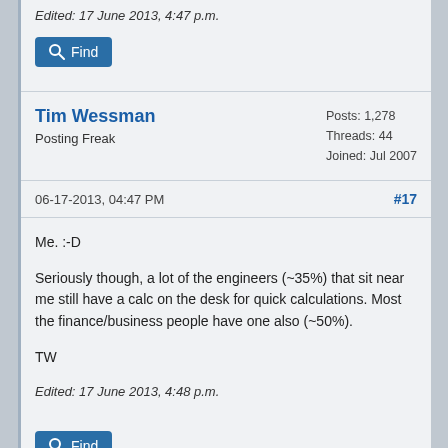Edited: 17 June 2013, 4:47 p.m.
Find
Tim Wessman
Posting Freak
Posts: 1,278
Threads: 44
Joined: Jul 2007
06-17-2013, 04:47 PM
#17
Me. :-D

Seriously though, a lot of the engineers (~35%) that sit near me still have a calc on the desk for quick calculations. Most the finance/business people have one also (~50%).

TW

Edited: 17 June 2013, 4:48 p.m.
Find